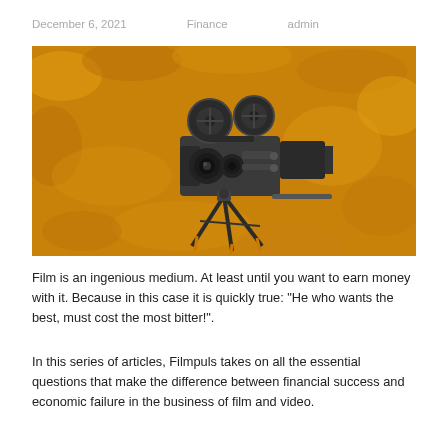December 6, 2021    Finance    admin
[Figure (photo): Vintage film movie camera on a tripod against a golden textured background]
Film is an ingenious medium. At least until you want to earn money with it. Because in this case it is quickly true: "He who wants the best, must cost the most bitter!".
In this series of articles, Filmpuls takes on all the essential questions that make the difference between financial success and economic failure in the business of film and video.